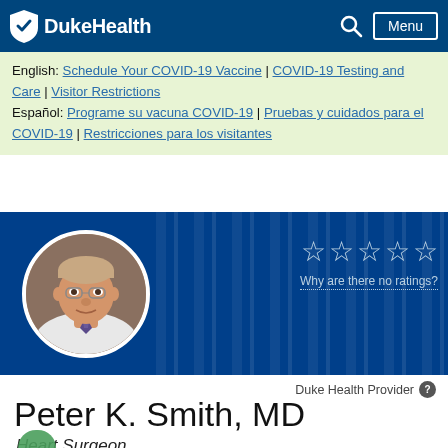DukeHealth — Search | Menu
English: Schedule Your COVID-19 Vaccine | COVID-19 Testing and Care | Visitor Restrictions
Español: Programe su vacuna COVID-19 | Pruebas y cuidados para el COVID-19 | Restricciones para los visitantes
[Figure (photo): Doctor profile photo of Peter K. Smith, MD, a middle-aged man with glasses, wearing a white shirt and patterned tie, in circular frame on a dark blue striped background with 5 empty star ratings and 'Why are there no ratings?' text]
Duke Health Provider
Peter K. Smith, MD
Heart Surgeon